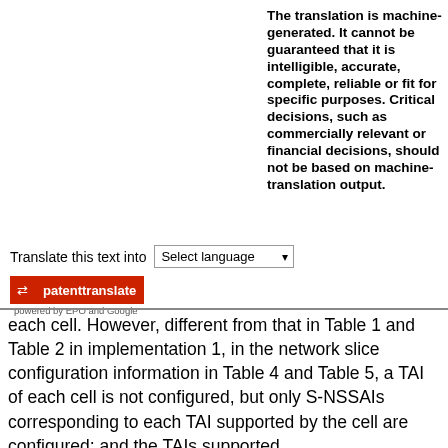The translation is machine-generated. It cannot be guaranteed that it is intelligible, accurate, complete, reliable or fit for specific purposes. Critical decisions, such as commercially relevant or financial decisions, should not be based on machine-translation output.
Translate this text into [Select language dropdown]
[Figure (logo): patenttranslate logo — red badge with arrows icon and text 'patenttranslate', subtext 'powered by EPO and Google']
each cell. However, different from that in Table 1 and Table 2 in implementation 1, in the network slice configuration information in Table 4 and Table 5, a TAI of each cell is not configured, but only S-NSSAIs corresponding to each TAI supported by the cell are configured; and the TAIs supported